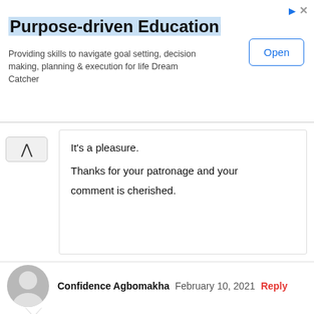[Figure (other): Advertisement banner for Purpose-driven Education with Open button]
It's a pleasure.
Thanks for your patronage and your comment is cherished.
Confidence Agbomakha  February 10, 2021  Reply
Does the content include lesson notes or it's just topics?
SeyiDipo  April 21, 2021  Reply